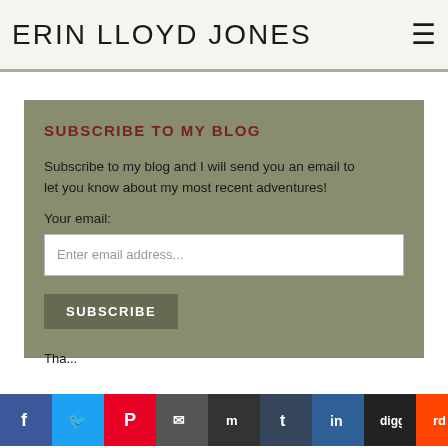ERIN LLOYD JONES
SUBSCRIBE TO MY BLOG
Subscribe to my blog and I will send you an email to let you know about my most recent adventures!
Your email:
Enter email address...
SUBSCRIBE
Tha...
[Figure (other): Row of social media share buttons: Facebook, Twitter, Pinterest, Email, Myspace, Tumblr, LinkedIn, Digg, Reddit, plus button]